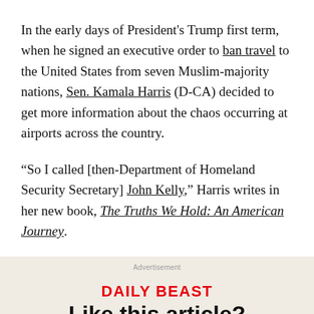In the early days of President's Trump first term, when he signed an executive order to ban travel to the United States from seven Muslim-majority nations, Sen. Kamala Harris (D-CA) decided to get more information about the chaos occurring at airports across the country.
“So I called [then-Department of Homeland Security Secretary] John Kelly,” Harris writes in her new book, The Truths We Hold: An American Journey.
Advertisement
[Figure (other): Daily Beast advertisement banner with red bold 'DAILY BEAST' logo, 'Like this article?' headline, and 'Support journalism like this – become a Daily Beast subscriber' text with yellow highlight on 'Daily Beast subscriber']